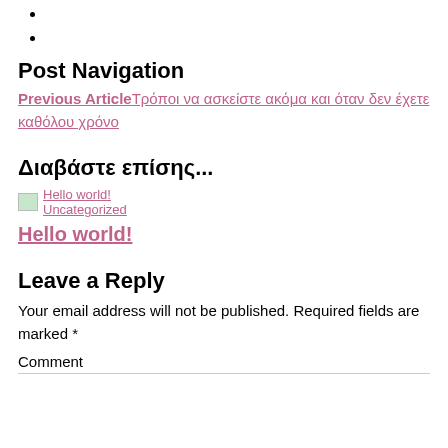Post Navigation
Previous ArticleΤρόποι να ασκείστε ακόμα και όταν δεν έχετε καθόλου χρόνο
Διαβάστε επίσης...
Hello world! Uncategorized
Hello world!
Leave a Reply
Your email address will not be published. Required fields are marked *
Comment